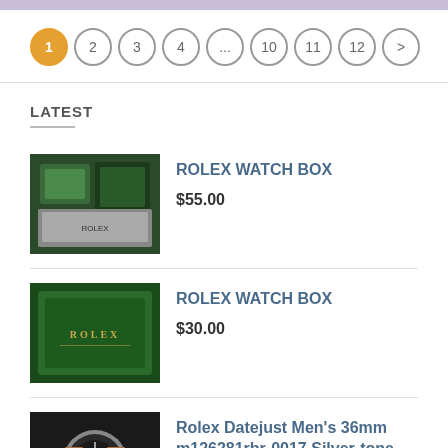Pagination: 1 2 3 4 ... 10 11 12 >
LATEST
[Figure (photo): Rolex watch box with green velvet and documents]
ROLEX WATCH BOX
$55.00
[Figure (photo): Green Rolex branded box]
ROLEX WATCH BOX
$30.00
[Figure (photo): Rolex Datejust Men's watch with silver and rose gold bracelet]
Rolex Datejust Men's 36mm m126281rbr-0017 Silver-tone
$139.00 – $1,099.00
[Figure (photo): Rolex Datejust Turn-o-graph watch]
Rolex Datejust Turn-o-graph 36mm Men's